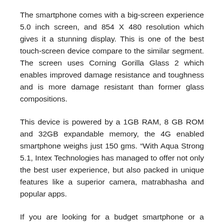The smartphone comes with a big-screen experience 5.0 inch screen, and 854 X 480 resolution which gives it a stunning display. This is one of the best touch-screen device compare to the similar segment. The screen uses Corning Gorilla Glass 2 which enables improved damage resistance and toughness and is more damage resistant than former glass compositions.
This device is powered by a 1GB RAM, 8 GB ROM and 32GB expandable memory, the 4G enabled smartphone weighs just 150 gms. “With Aqua Strong 5.1, Intex Technologies has managed to offer not only the best user experience, but also packed in unique features like a superior camera, matrabhasha and popular apps.
If you are looking for a budget smartphone or a smartphone under 5k then this is the right one for you.